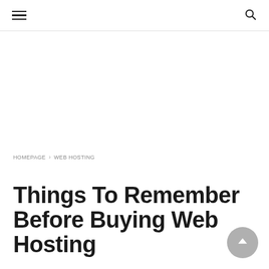≡  🔍
HOMEPAGE › WEB HOSTING
Web hosting
Things To Remember Before Buying Web Hosting